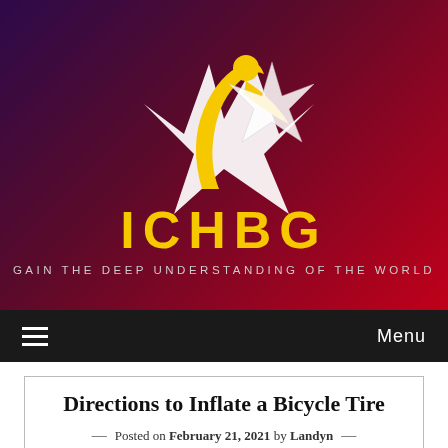[Figure (logo): ICHBG logo — a yellow figure with arms raised forming a star shape alongside a white star graphic, on a dark purple-to-red gradient background, with 'ICHBG' in large yellow letters and 'GAIN THE DEEP UNDERSTANDING OF THE WORLD' in small light grey letters below]
Menu
Directions to Inflate a Bicycle Tire
— Posted on February 21, 2021 by Landyn —